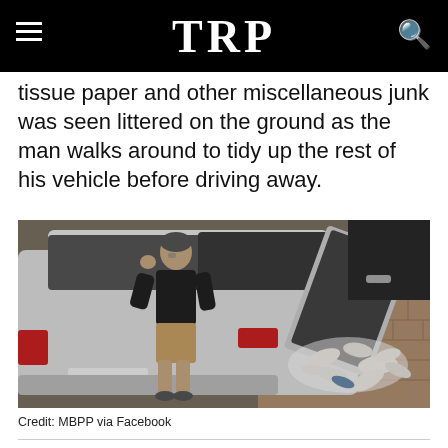TRP
tissue paper and other miscellaneous junk was seen littered on the ground as the man walks around to tidy up the rest of his vehicle before driving away.
[Figure (photo): CCTV still image showing a man in a black t-shirt and khaki shorts standing beside a white car (Honda Jazz/Fit) with its rear hatch open. On the ground to the right of the car is a large pile of tissue paper and miscellaneous litter scattered on patterned brick pavement.]
Credit: MBPP via Facebook